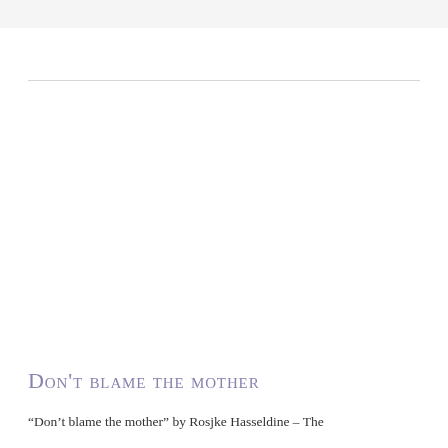Don't blame the mother
“Don’t blame the mother” by Rosjke Hasseldine – The